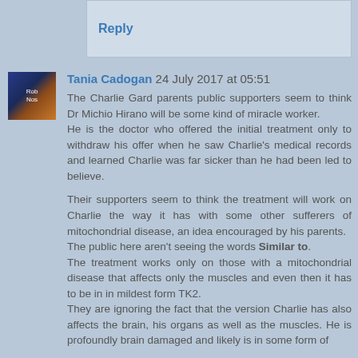Reply
Tania Cadogan 24 July 2017 at 05:51
The Charlie Gard parents public supporters seem to think Dr Michio Hirano will be some kind of miracle worker. He is the doctor who offered the initial treatment only to withdraw his offer when he saw Charlie's medical records and learned Charlie was far sicker than he had been led to believe.

Their supporters seem to think the treatment will work on Charlie the way it has with some other sufferers of mitochondrial disease, an idea encouraged by his parents. The public here aren't seeing the words Similar to. The treatment works only on those with a mitochondrial disease that affects only the muscles and even then it has to be in in mildest form TK2. They are ignoring the fact that the version Charlie has also affects the brain, his organs as well as the muscles. He is profoundly brain damaged and likely is in some form of